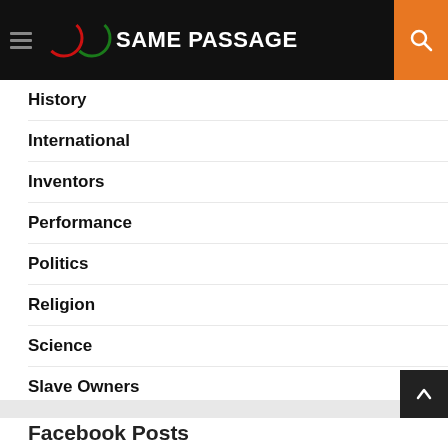SAME PASSAGE
History
International
Inventors
Performance
Politics
Religion
Science
Slave Owners
Sports
The Word
Uncategorized
Facebook Posts